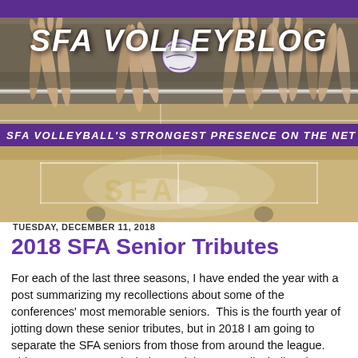[Figure (photo): SFA VOLLEYBLOG header banner showing hands blocking a volleyball at a net, with indoor gym lighting. Purple bar at top. Blog name 'SFA VOLLEYBLOG' overlaid in large white italic text.]
SFA VOLLEYBALL'S STRONGEST PRESENCE ON THE NET
[Figure (photo): Background photo of a volleyball court with SFA branding visible on the court floor, partial view of players in the distance.]
TUESDAY, DECEMBER 11, 2018
2018 SFA Senior Tributes
For each of the last three seasons, I have ended the year with a post summarizing my recollections about some of the conferences' most memorable seniors.  This is the fourth year of jotting down these senior tributes, but in 2018 I am going to separate the SFA seniors from those from around the league.  This season was particularly special to SFA Volleyball and so there will be two "senior tribute" posts this December; this first one dedicated to our four seniors that